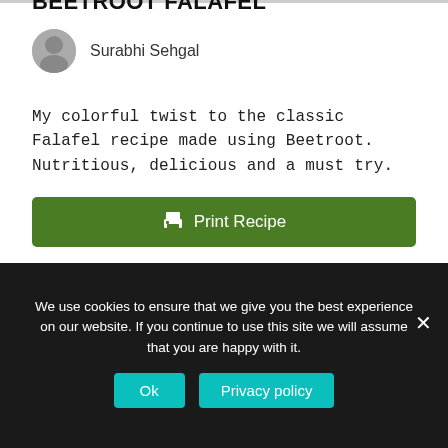BEETROOT FALAFEL
Surabhi Sehgal
My colorful twist to the classic Falafel recipe made using Beetroot. Nutritious, delicious and a must try.
Print Recipe
We use cookies to ensure that we give you the best experience on our website. If you continue to use this site we will assume that you are happy with it.
Ok
Privacy policy